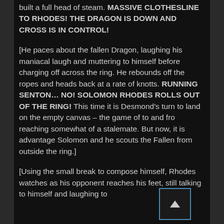built a full head of steam. MASSIVE CLOTHESLINE TO RHODES! THE DRAGON IS DOWN AND CROSS IS IN CONTROL!
[He paces about the fallen Dragon, laughing his maniacal laugh and muttering to himself before charging off across the ring. He rebounds off the ropes and heads back at a rate of knotts. RUNNING SENTON… NO! SOLOMON RHODES ROLLS OUT OF THE RING! This time it is Desmond's turn to land on the empty canvas – the game of to and fro reaching somewhat of a stalemate. But now, it is advantage Solomon and he scouts the Fallen from outside the ring.]
[Using the small break to compose himself, Rhodes watches as his opponent reaches his feet, still talking to himself and laughing to